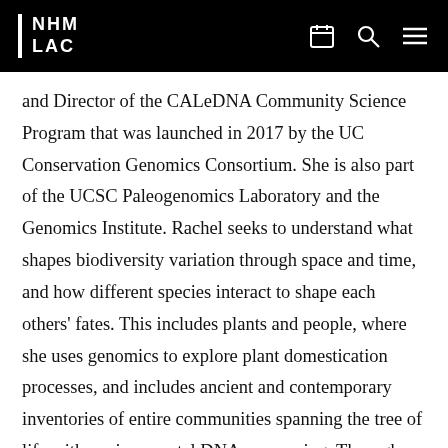NHM LAC
and Director of the CALeDNA Community Science Program that was launched in 2017 by the UC Conservation Genomics Consortium. She is also part of the UCSC Paleogenomics Laboratory and the Genomics Institute. Rachel seeks to understand what shapes biodiversity variation through space and time, and how different species interact to shape each others' fates. This includes plants and people, where she uses genomics to explore plant domestication processes, and includes ancient and contemporary inventories of entire communities spanning the tree of life with environmental DNA sequencing. Through CALeDNA, she has worked with over 1000 volunteers and dozens of students and scientists from